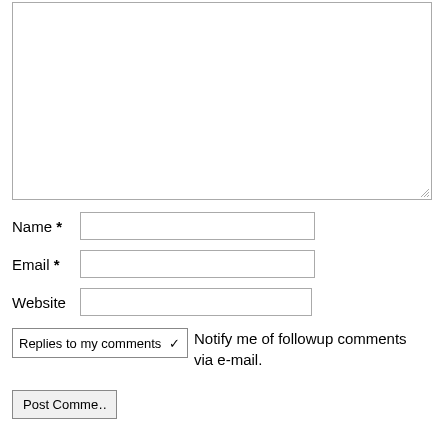[Figure (screenshot): A comment form showing a large textarea for comments, followed by input fields for Name (required), Email (required), and Website. Below the fields is a dropdown selector labeled 'Replies to my comments' with accompanying text 'Notify me of followup comments via e-mail.' At the bottom is a partially visible 'Post Comment' button.]
Name *
Email *
Website
Replies to my comments ✓  Notify me of followup comments via e-mail.